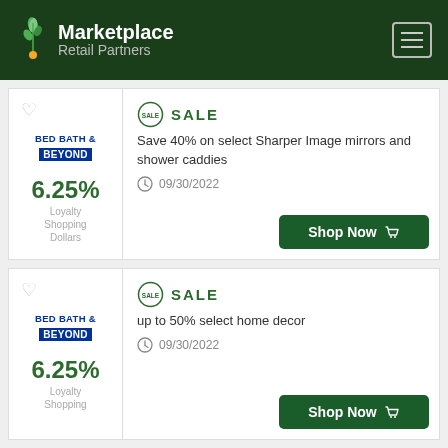Marketplace Retail Partners
SALE — Save 40% on select Sharper Image mirrors and shower caddies — 09/30/2022 — 6.25% Loyalty Shopping Dollars
SALE — up to 50% select home decor — 09/30/2022 — 6.25% Loyalty Shopping